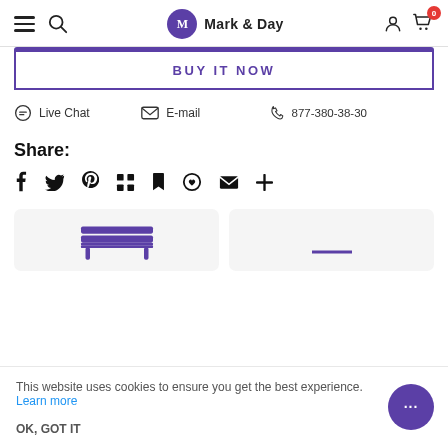Mark & Day — navigation header with hamburger menu, search, logo, account, and cart (0 items)
BUY IT NOW
Live Chat   E-mail   877-380-38-30
Share:
Share icons: Facebook, Twitter, Pinterest, Grid/Apps, Bookmark, Heart, Email, Plus
[Figure (illustration): Two product card thumbnails partially visible at bottom — left shows a purple bench/table icon, right shows a partial purple line element]
This website uses cookies to ensure you get the best experience. Learn more
OK, GOT IT